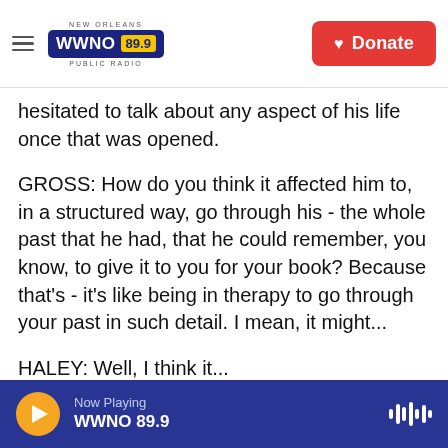NEW ORLEANS WWNO 89.9 PUBLIC RADIO | Donate
hesitated to talk about any aspect of his life once that was opened.
GROSS: How do you think it affected him to, in a structured way, go through his - the whole past that he had, that he could remember, you know, to give it to you for your book? Because that's - it's like being in therapy to go through your past in such detail. I mean, it might...
HALEY: Well, I think it...
GROSS: I assume it be similar to be, like - being in
Now Playing WWNO 89.9